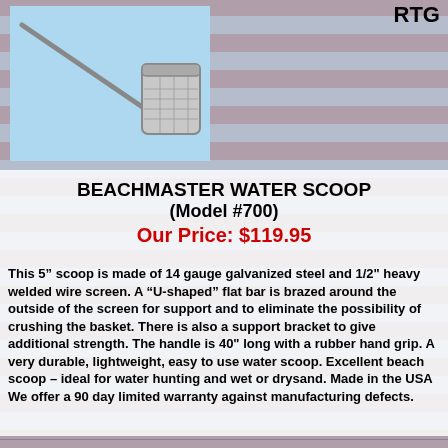RTG
[Figure (photo): A metal beach water scoop with a long handle and mesh basket, shown against a light blue background.]
BEACHMASTER WATER SCOOP (Model #700)
Our Price: $119.95
This 5” scoop is made of 14 gauge galvanized steel and 1/2" heavy welded wire screen. A “U-shaped” flat bar is brazed around the outside of the screen for support and to eliminate the possibility of crushing the basket. There is also a support bracket to give additional strength. The handle is 40" long with a rubber hand grip. A very durable, lightweight, easy to use water scoop. Excellent beach scoop – ideal for water hunting and wet or drysand. Made in the USA We offer a 90 day limited warranty against manufacturing defects.